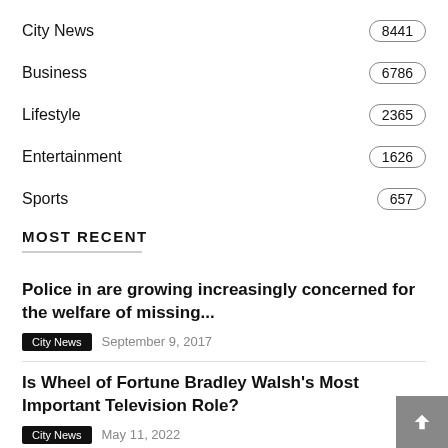City News 8441
Business 6786
Lifestyle 2365
Entertainment 1626
Sports 657
MOST RECENT
Police in are growing increasingly concerned for the welfare of missing...
City News  September 9, 2017
Is Wheel of Fortune Bradley Walsh's Most Important Television Role?
City News  May 11, 2022